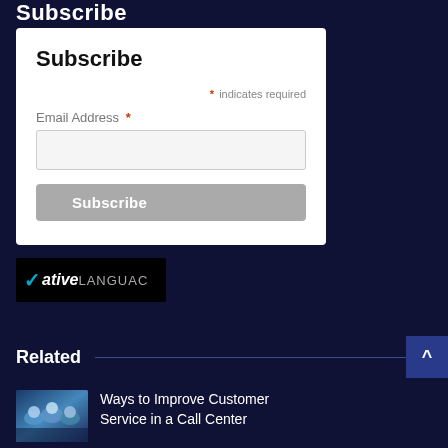Subscribe
Subscribe
* indicates required
Email Address *
Subscribe
[Figure (logo): Native Language logo on black background with checkmark and text 'ativeLANGUAC']
Related
Ways to Improve Customer Service in a Call Center